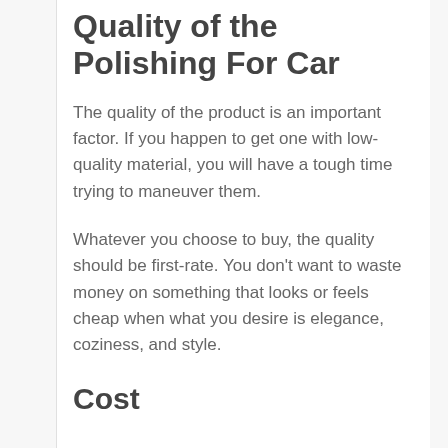Quality of the Polishing For Car
The quality of the product is an important factor. If you happen to get one with low-quality material, you will have a tough time trying to maneuver them.
Whatever you choose to buy, the quality should be first-rate. You don't want to waste money on something that looks or feels cheap when what you desire is elegance, coziness, and style.
Cost